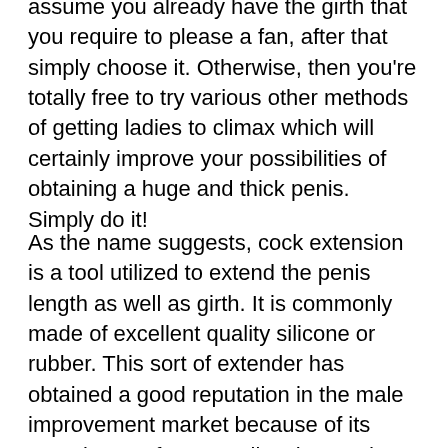assume you already have the girth that you require to please a fan, after that simply choose it. Otherwise, then you're totally free to try various other methods of getting ladies to climax which will certainly improve your possibilities of obtaining a huge and thick penis. Simply do it!
As the name suggests, cock extension is a tool utilized to extend the penis length as well as girth. It is commonly made of excellent quality silicone or rubber. This sort of extender has obtained a good reputation in the male improvement market because of its superior comfort as well as boosted experiences. Many males have been amazed by its effectiveness in enhancing their sex lives.